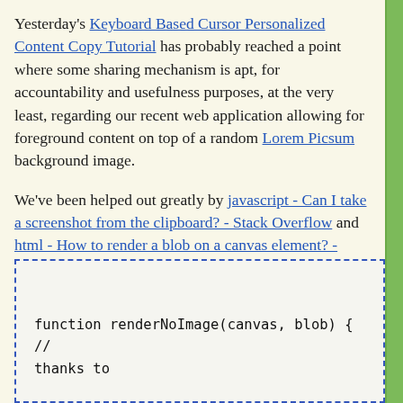Yesterday's Keyboard Based Cursor Personalized Content Copy Tutorial has probably reached a point where some sharing mechanism is apt, for accountability and usefulness purposes, at the very least, regarding our recent web application allowing for foreground content on top of a random Lorem Picsum background image.
We've been helped out greatly by javascript - Can I take a screenshot from the clipboard? - Stack Overflow and html - How to render a blob on a canvas element? - Stack Overflow in the following new relevant Javascript code ...
[Figure (screenshot): Code block with dashed blue border showing beginning of function renderNoImage(canvas, blob) { // thanks to]